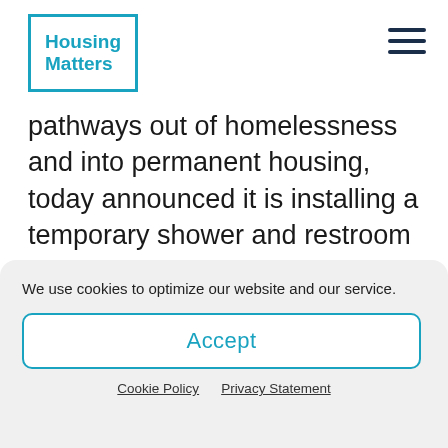Housing Matters
pathways out of homelessness and into permanent housing, today announced it is installing a temporary shower and restroom facility, or “hygiene bay,” because the existing hygiene bay has exceeded its useful life and requires a full renovation before a permanent reopening is possible. The current facility will close Friday, August 16.
We use cookies to optimize our website and our service.
Accept
Cookie Policy  Privacy Statement